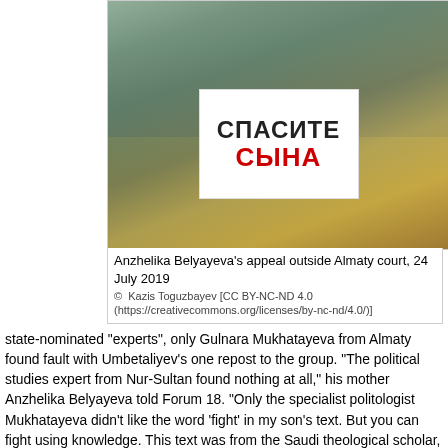[Figure (photo): A woman standing outside Almaty court holding a white sign with Cyrillic text reading 'СПАСИТЕ СЫНА' (Save my son). She is in front of a building with Cyrillic signage.]
Anzhelika Belyayeva's appeal outside Almaty court, 24 July 2019
© Kazis Toguzbayev [CC BY-NC-ND 4.0 (https://creativecommons.org/licenses/by-nc-nd/4.0/)]
state-nominated "experts", only Gulnara Mukhatayeva from Almaty found fault with Umbetaliyev's one repost to the group. "The political studies expert from Nur-Sultan found nothing at all," his mother Anzhelika Belyayeva told Forum 18. "Only the specialist politologist Mukhatayeva didn't like the word 'fight' in my son's text. But you can fight using knowledge. This text was from the Saudi theological scholar, Saleh Al-Fawzan."
On 14 February 2019, Galym Nurpeisov, Umbetaliyev's lawyer, commissioned an expert analysis of the text he had circulated from Almaty-based Adil Soz (Free Word) International Foundation for...